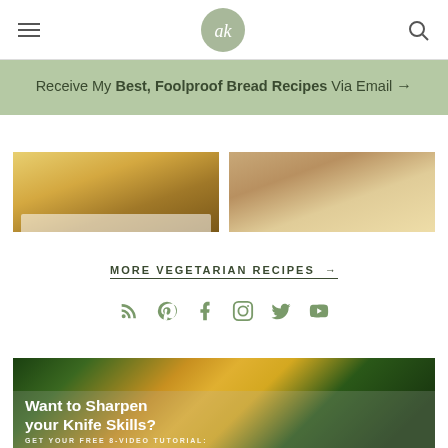ak [logo] navigation header with hamburger menu and search icon
Receive My Best, Foolproof Bread Recipes Via Email →
[Figure (photo): Two food photos side by side: left shows french fries/mango slices on a white plate, right shows flatbread/crackers on a wooden cutting board]
MORE VEGETARIAN RECIPES →
[Figure (infographic): Social media icons: RSS, Pinterest, Facebook, Instagram, Twitter, YouTube]
[Figure (photo): Food photo with citrus fruits and herbs, overlaid with white text: 'Want to Sharpen your Knife Skills?' and 'GET YOUR FREE 8-VIDEO TUTORIAL:']